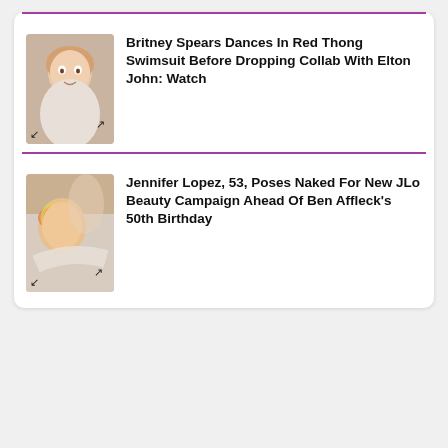[Figure (other): Thumbnail photo of Britney Spears]
Britney Spears Dances In Red Thong Swimsuit Before Dropping Collab With Elton John: Watch
[Figure (photo): Thumbnail photo of Jennifer Lopez wearing sunglasses outdoors]
Jennifer Lopez, 53, Poses Naked For New JLo Beauty Campaign Ahead Of Ben Affleck’s 50th Birthday